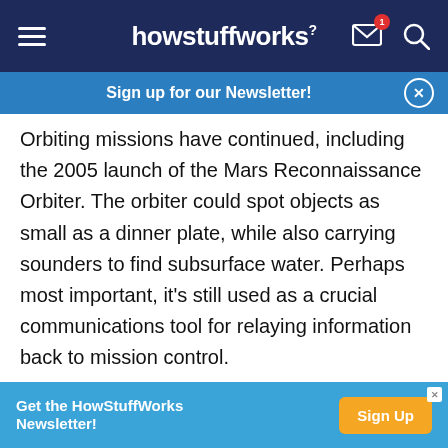howstuffworks
Sign up for our Newsletter!
Orbiting missions have continued, including the 2005 launch of the Mars Reconnaissance Orbiter. The orbiter could spot objects as small as a dinner plate, while also carrying sounders to find subsurface water. Perhaps most important, it's still used as a crucial communications tool for relaying information back to mission control.

But let's wander over to the rovers' predecessors now. Viking 1 and 2, which launched in the mid-'70s,
Get the HowStuffWorks Newsletter!